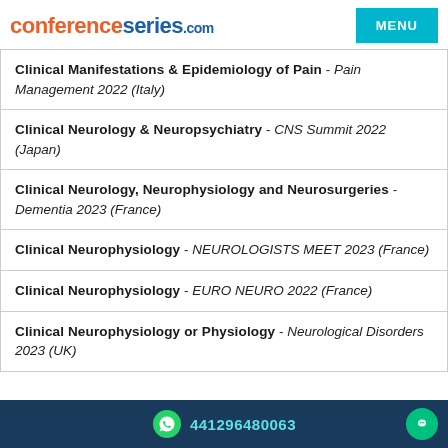conferenceseries.com MENU
Clinical Manifestations & Epidemiology of Pain - Pain Management 2022 (Italy)
Clinical Neurology & Neuropsychiatry - CNS Summit 2022 (Japan)
Clinical Neurology, Neurophysiology and Neurosurgeries - Dementia 2023 (France)
Clinical Neurophysiology - NEUROLOGISTS MEET 2023 (France)
Clinical Neurophysiology - EURO NEURO 2022 (France)
Clinical Neurophysiology or Physiology - Neurological Disorders 2023 (UK)
441296480063